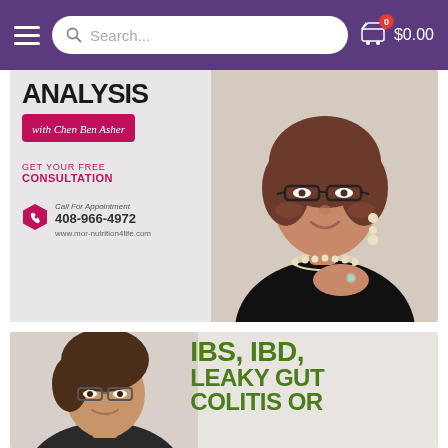Navigation bar with hamburger menu, search box, and cart showing $0.00
[Figure (photo): Promotional banner showing 'ANALYSIS with Chen Ben Asher' with pink badge, 'GET YOUR FREE CONSULTATION', phone number 408-966-4972, website www.mor-nutrition4life.com, and a woman in black top with glasses, pearl necklace and earrings posing with hand near chin]
[Figure (photo): Second promotional banner showing a man with glasses and text 'IBS, IBD, LEAKY GUT COLITIS OR' in large green bold letters]